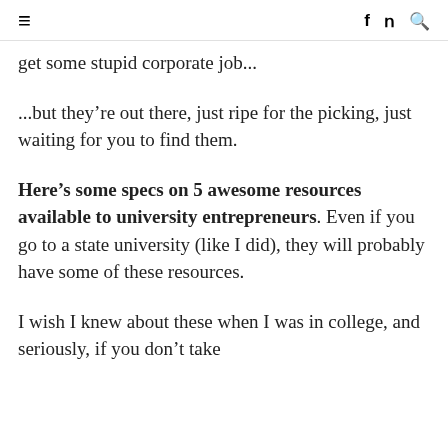≡  f  𝓎  🔍
get some stupid corporate job...
...but they're out there, just ripe for the picking, just waiting for you to find them.
Here's some specs on 5 awesome resources available to university entrepreneurs. Even if you go to a state university (like I did), they will probably have some of these resources.
I wish I knew about these when I was in college, and seriously, if you don't take